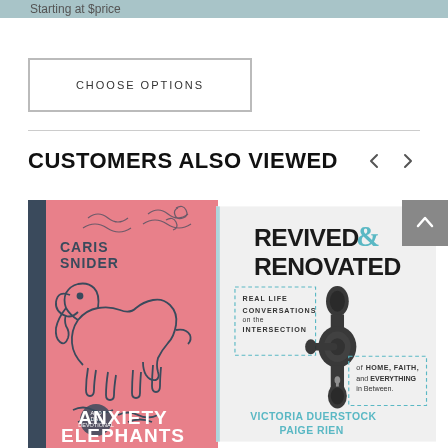Starting at $price
CHOOSE OPTIONS
CUSTOMERS ALSO VIEWED
[Figure (photo): Book cover: Anxiety Elephants by Caris Snider. Pink cover with a line-drawing of an elephant. Subtitle: A 30-Day Devotional.]
[Figure (photo): Book cover: Revived & Renovated. Real Life Conversations on the Intersection of Home, Faith, and Everything in Between. By Victoria Duerstock and Paige Rien. White cover with a dark ornate door handle.]